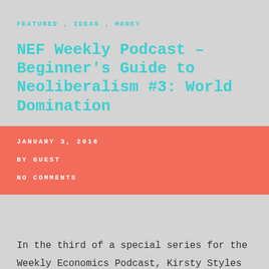FEATURED, IDEAS, MONEY
NEF Weekly Podcast – Beginner's Guide to Neoliberalism #3: World Domination
JANUARY 3, 2016
BY GUEST
NO COMMENTS
In the third of a special series for the Weekly Economics Podcast, Kirsty Styles chats to James Meadway, Chief Economist at the New Economics Foundation, about our economic system, the difference between